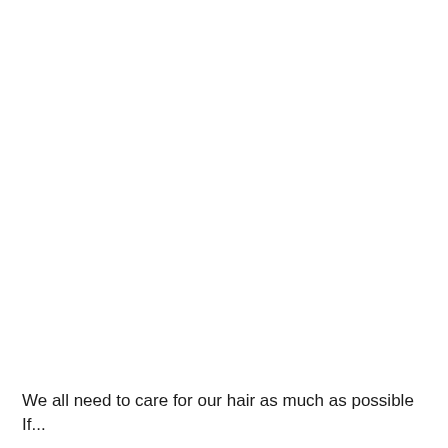We all need to care for our hair as much as possible If...